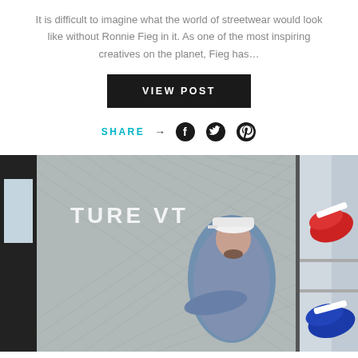It is difficult to imagine what the world of streetwear would look like without Ronnie Fieg in it. As one of the most inspiring creatives on the planet, Fieg has…
VIEW POST
SHARE → [Facebook] [Twitter] [Pinterest]
[Figure (photo): Man in denim jacket and white cap standing with arms crossed in front of a metallic quilted wall with neon signage, inside a sneaker store with colorful sneakers visible on shelves to the right.]